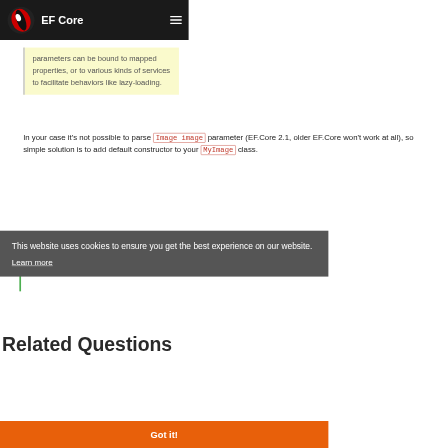EF Core
parameters can be bound to mapped properties, or to various kinds of services to facilitate behaviors like lazy-loading.
In your case it's not possible to parse Image image parameter (EF.Core 2.1, older EF.Core won't work at all), so simple solution is to add default constructor to your MyImage class.
ingvar
This website uses cookies to ensure you get the best experience on our website.
Learn more
Related Questions
Got it!